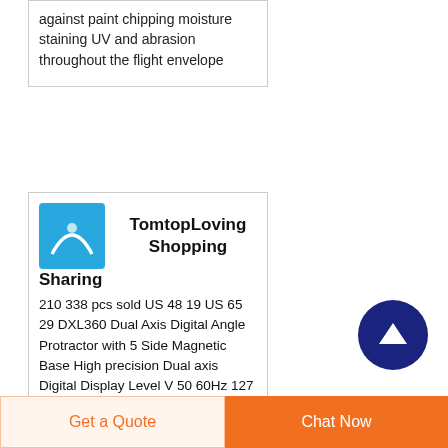against paint chipping moisture staining UV and abrasion throughout the flight envelope
[Figure (logo): TomtopLoving seller logo — blue square with white arc/curve graphic]
TomtopLoving Shopping
Sharing
210 338 pcs sold US 48 19 US 65 29 DXL360 Dual Axis Digital Angle Protractor with 5 Side Magnetic Base High precision Dual axis Digital Display Level V 50 60Hz 127 190 pcs sold US 45 49 US 59 52 1 1M Noise Isolating
[Figure (other): Dark navy circle with white upward-pointing arrow — scroll to top button]